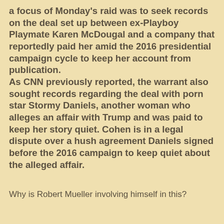a focus of Monday's raid was to seek records on the deal set up between ex-Playboy Playmate Karen McDougal and a company that reportedly paid her amid the 2016 presidential campaign cycle to keep her account from publication. As CNN previously reported, the warrant also sought records regarding the deal with porn star Stormy Daniels, another woman who alleges an affair with Trump and was paid to keep her story quiet. Cohen is in a legal dispute over a hush agreement Daniels signed before the 2016 campaign to keep quiet about the alleged affair.
Why is Robert Mueller involving himself in this?